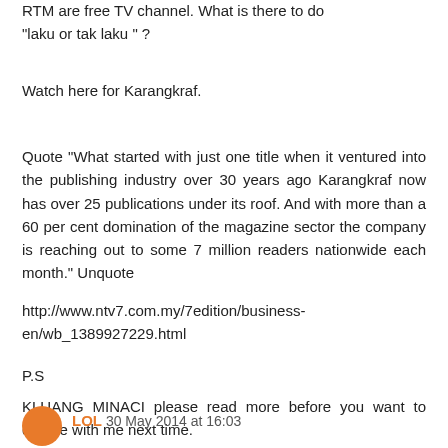RTM are free TV channel. What is there to do "laku or tak laku" ?
Watch here for Karangkraf.
Quote "What started with just one title when it ventured into the publishing industry over 30 years ago Karangkraf now has over 25 publications under its roof. And with more than a 60 per cent domination of the magazine sector the company is reaching out to some 7 million readers nationwide each month." Unquote
http://www.ntv7.com.my/7edition/business-en/wb_1389927229.html
P.S
KLUANG MINACI please read more before you want to debate with me next time.
LOL 30 May 2014 at 16:03